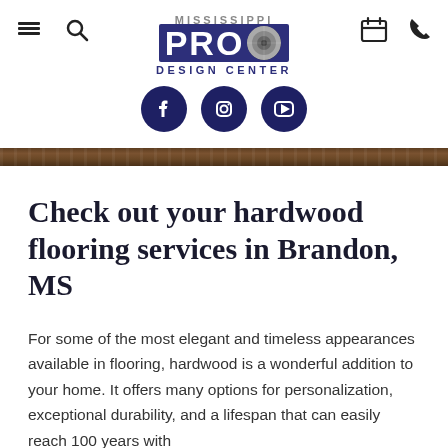[Figure (logo): Mississippi Pro Design Center logo with hamburger menu, search icon, calendar and phone icons, Facebook, Instagram, and YouTube social media icons]
Check out your hardwood flooring services in Brandon, MS
For some of the most elegant and timeless appearances available in flooring, hardwood is a wonderful addition to your home. It offers many options for personalization, exceptional durability, and a lifespan that can easily reach 100 years with